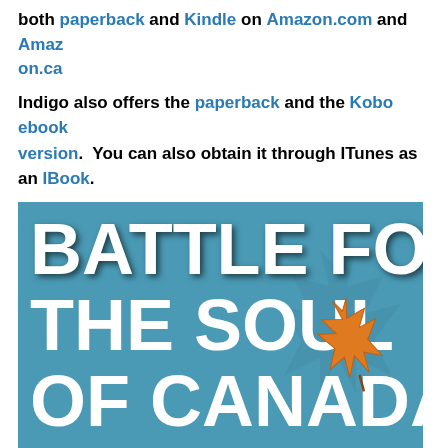both paperback and Kindle on Amazon.com and Amazon.ca
Indigo also offers the paperback and the Kobo ebook version.  You can also obtain it through ITunes as an IBook.
[Figure (illustration): Book cover for 'Battle for the Soul of Canada: Raising Up the Emerging Generation of Leaders' featuring large white bold text on a teal/blue background with an orange maple leaf graphic]